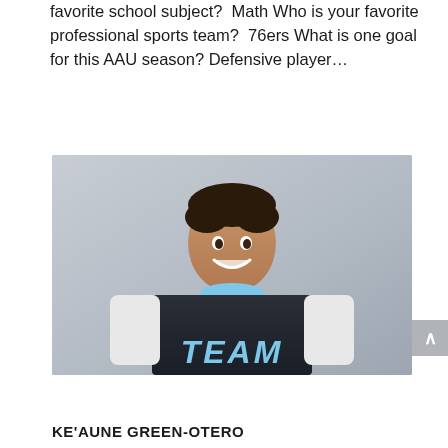favorite school subject?  Math Who is your favorite professional sports team?  76ers What is one goal for this AAU season? Defensive player…
[Figure (photo): Young boy smiling, wearing a dark navy and light blue basketball jersey with 'TEAM' text, photographed against a light gray background.]
KE'AUNE GREEN-OTERO